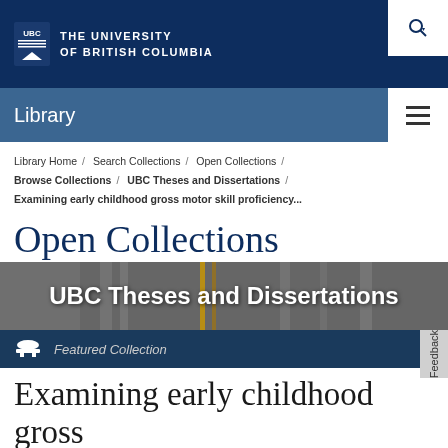THE UNIVERSITY OF BRITISH COLUMBIA
Library
Library Home / Search Collections / Open Collections / Browse Collections / UBC Theses and Dissertations /
Examining early childhood gross motor skill proficiency...
Open Collections
[Figure (photo): UBC Theses and Dissertations banner with library stacks background]
Featured Collection
Examining early childhood gross motor skill proficiency in